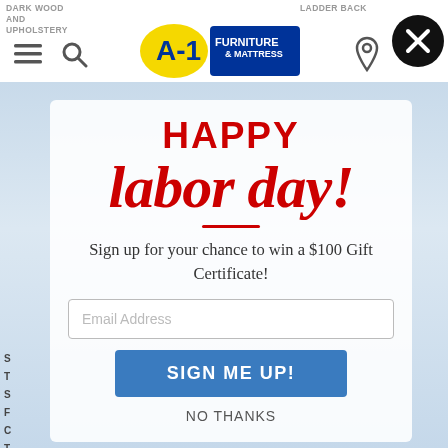[Figure (screenshot): A-1 Furniture & Mattress website header with hamburger menu, search icon, logo, location icon, and close button. Background shows partial product listing text 'DARK WOOD AND UPHOLSTERY' and 'LADDER BACK'.]
[Figure (infographic): Modal popup overlay on a city skyline background. Contains 'HAPPY labor day!' in red bold text, a red divider line, subtitle text, email input field, blue 'SIGN ME UP!' button, and 'NO THANKS' link.]
HAPPY
labor day!
Sign up for your chance to win a $100 Gift Certificate!
Email Address
SIGN ME UP!
NO THANKS